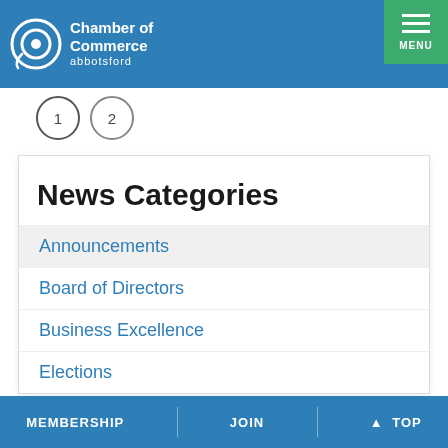Chamber of Commerce abbotsford
1  2  Next
News Categories
Announcements
Board of Directors
Business Excellence
Elections
Employment Opportunities
News Releases
MEMBERSHIP | JOIN | ↑ TOP